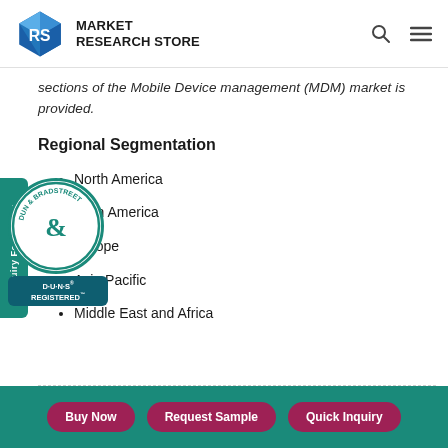MARKET RESEARCH STORE
sections of the Mobile Device management (MDM) market is provided.
Regional Segmentation
North America
Latin America
Europe
Asia Pacific
Middle East and Africa
Buy Now | Request Sample | Quick Inquiry